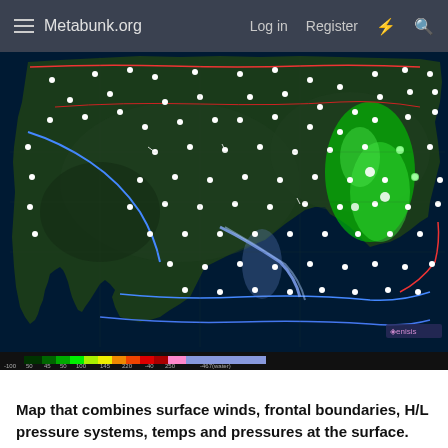Metabunk.org   Log in   Register
[Figure (map): Weather map of the continental United States combining surface winds, frontal boundaries, H/L pressure systems, temperatures and pressures at the surface. Dark green background with white station dots scattered across the country, blue frontal boundaries, red lines indicating pressure systems, bright green areas on East Coast indicating weather activity, bluish streak in central US, color legend bar at bottom showing temperature or pressure scale from -100 to ~467.]
Map that combines surface winds, frontal boundaries, H/L pressure systems, temps and pressures at the surface.